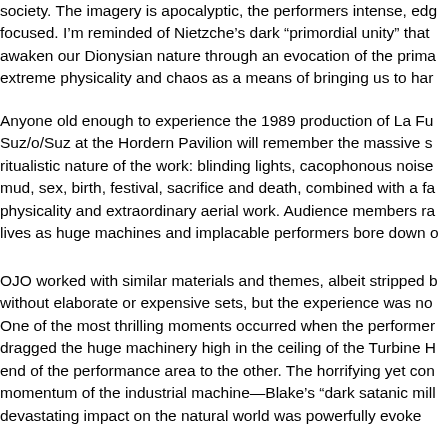society. The imagery is apocalyptic, the performers intense, edg focused. I'm reminded of Nietzche's dark "primordial unity" that awaken our Dionysian nature through an evocation of the prima extreme physicality and chaos as a means of bringing us to har
Anyone old enough to experience the 1989 production of La Fu Suz/o/Suz at the Hordern Pavilion will remember the massive s ritualistic nature of the work: blinding lights, cacophonous noise mud, sex, birth, festival, sacrifice and death, combined with a fa physicality and extraordinary aerial work. Audience members ra lives as huge machines and implacable performers bore down o
OJO worked with similar materials and themes, albeit stripped b without elaborate or expensive sets, but the experience was no One of the most thrilling moments occurred when the performer dragged the huge machinery high in the ceiling of the Turbine H end of the performance area to the other. The horrifying yet con momentum of the industrial machine—Blake's "dark satanic mill devastating impact on the natural world was powerfully evoke